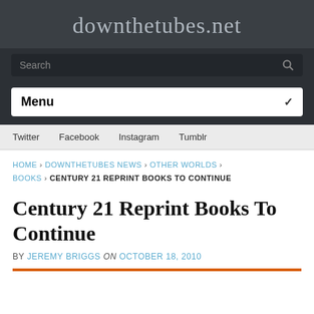downthetubes.net
Search
Menu
Twitter   Facebook   Instagram   Tumblr
HOME › DOWNTHETUBES NEWS › OTHER WORLDS › BOOKS › CENTURY 21 REPRINT BOOKS TO CONTINUE
Century 21 Reprint Books To Continue
BY JEREMY BRIGGS on OCTOBER 18, 2010